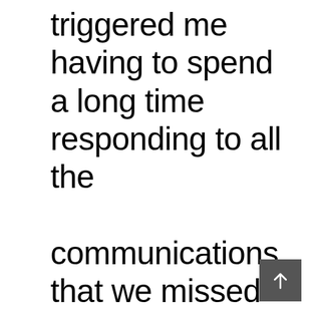triggered me having to spend a long time responding to all the communications that we missed during my lack.